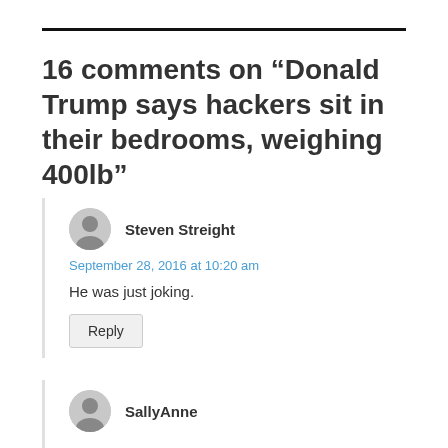16 comments on “Donald Trump says hackers sit in their bedrooms, weighing 400lb”
Steven Streight
September 28, 2016 at 10:20 am
He was just joking.
SallyAnne